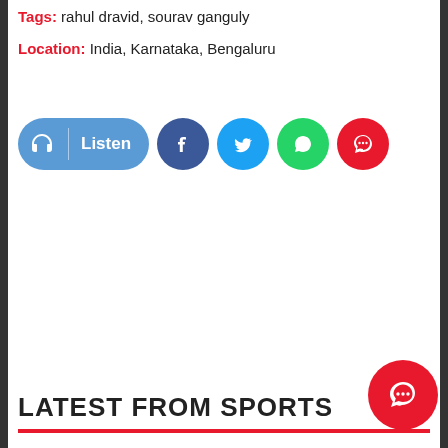Tags: rahul dravid, sourav ganguly
Location: India, Karnataka, Bengaluru
[Figure (infographic): Social sharing bar with Listen button (headphone icon, blue pill-shaped), Facebook (blue circle), Twitter (light-blue circle), WhatsApp (green circle), and comment (red circle) buttons]
LATEST FROM SPORTS